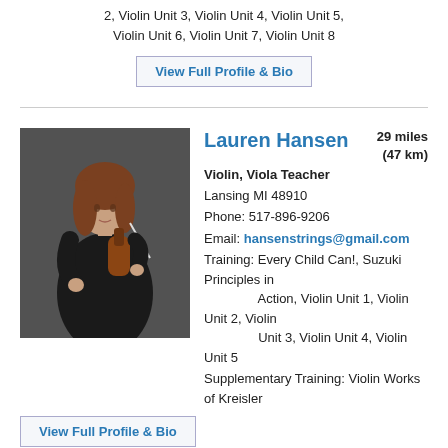2, Violin Unit 3, Violin Unit 4, Violin Unit 5, Violin Unit 6, Violin Unit 7, Violin Unit 8
View Full Profile & Bio
Lauren Hansen
Violin, Viola Teacher
29 miles (47 km)
Lansing MI 48910
Phone: 517-896-9206
Email: hansenstrings@gmail.com
Training: Every Child Can!, Suzuki Principles in Action, Violin Unit 1, Violin Unit 2, Violin Unit 3, Violin Unit 4, Violin Unit 5
Supplementary Training: Violin Works of Kreisler
View Full Profile & Bio
[Figure (photo): Photo of Lauren Hansen holding a violin, wearing a black dress, standing against a dark gray background.]